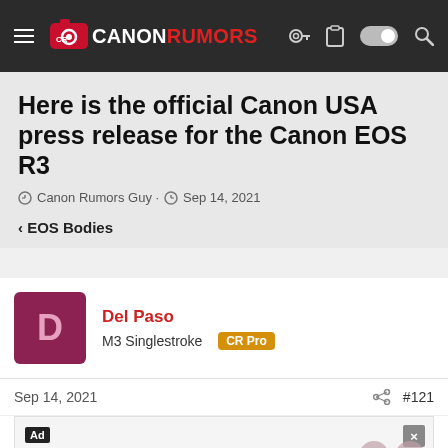Canon Rumors navigation bar
Here is the official Canon USA press release for the Canon EOS R3
Canon Rumors Guy · Sep 14, 2021
< EOS Bodies
Del Paso
M3 Singlestroke CR Pro
Sep 14, 2021  #121
Ad
Well here in New Zealand the CanRum system didn't...